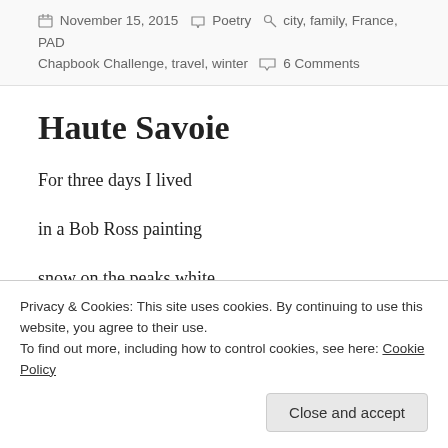November 15, 2015  Poetry  city, family, France, PAD Chapbook Challenge, travel, winter  6 Comments
Haute Savoie
For three days I lived
in a Bob Ross painting
snow on the peaks white
mist thick in the valley
Privacy & Cookies: This site uses cookies. By continuing to use this website, you agree to their use.
To find out more, including how to control cookies, see here: Cookie Policy
Close and accept
to rising sun in endless